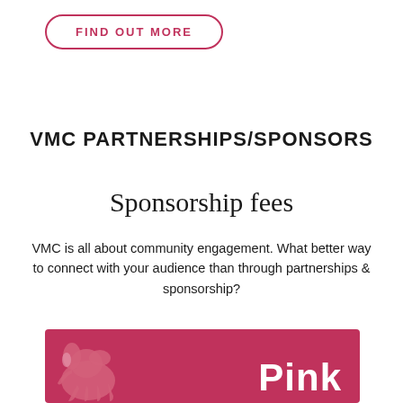FIND OUT MORE
VMC PARTNERSHIPS/SPONSORS
Sponsorship fees
VMC is all about community engagement. What better way to connect with your audience than through partnerships & sponsorship?
[Figure (logo): Pink/magenta banner with a white elephant illustration on the left and the word 'Pink' in large white bold text on the right]